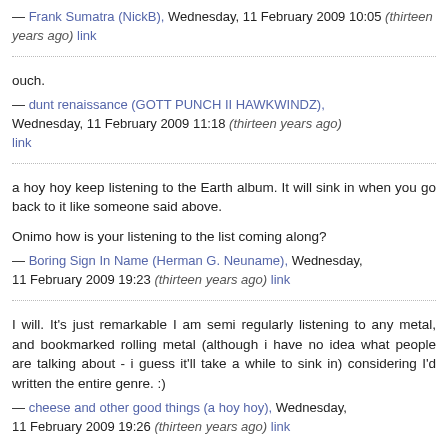— Frank Sumatra (NickB), Wednesday, 11 February 2009 10:05 (thirteen years ago) link
ouch.
— dunt renaissance (GOTT PUNCH II HAWKWINDZ), Wednesday, 11 February 2009 11:18 (thirteen years ago) link
a hoy hoy keep listening to the Earth album. It will sink in when you go back to it like someone said above.

Onimo how is your listening to the list coming along?
— Boring Sign In Name (Herman G. Neuname), Wednesday, 11 February 2009 19:23 (thirteen years ago) link
I will. It's just remarkable I am semi regularly listening to any metal, and bookmarked rolling metal (although i have no idea what people are talking about - i guess it'll take a while to sink in) considering I'd written the entire genre. :)
— cheese and other good things (a hoy hoy), Wednesday, 11 February 2009 19:26 (thirteen years ago) link